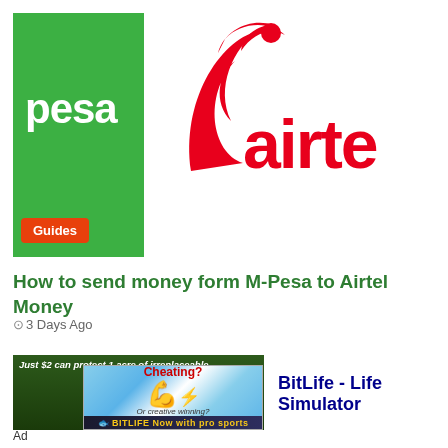[Figure (logo): M-Pesa logo on green background with Guides badge and Airtel logo partially visible on white background]
How to send money form M-Pesa to Airtel Money
3 Days Ago
[Figure (screenshot): Advertisement showing BitLife - Life Simulator app ad with cheating/arm emoji graphic and dark forest background ad behind it. Ad label below.]